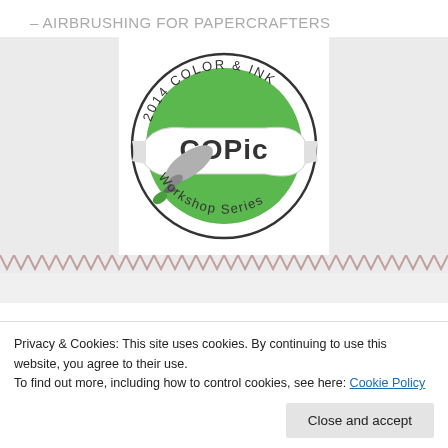– AIRBRUSHING FOR PAPERCRAFTERS
[Figure (logo): Copic 2014 Color & Ink Workshop Series circular logo with a green circle, a gray airbrush marker, and text arranged around the circle.]
Privacy & Cookies: This site uses cookies. By continuing to use this website, you agree to their use.
To find out more, including how to control cookies, see here: Cookie Policy
Close and accept